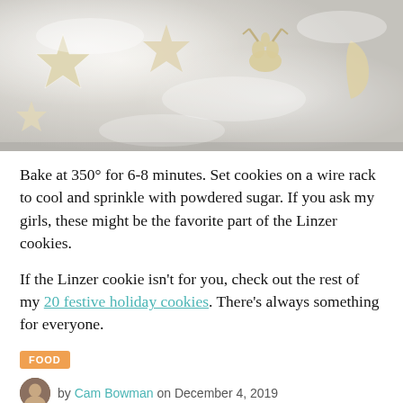[Figure (photo): Overhead close-up photo of star and animal shaped shortbread/linzer cookies dusted heavily with white powdered sugar on a light background]
Bake at 350° for 6-8 minutes. Set cookies on a wire rack to cool and sprinkle with powdered sugar. If you ask my girls, these might be the favorite part of the Linzer cookies.
If the Linzer cookie isn't for you, check out the rest of my 20 festive holiday cookies. There's always something for everyone.
FOOD
by Cam Bowman on December 4, 2019